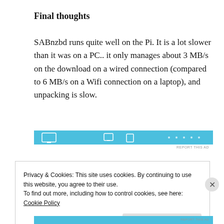Final thoughts
SABnzbd runs quite well on the Pi. It is a lot slower than it was on a PC.. it only manages about 3 MB/s on the download on a wired connection (compared to 6 MB/s on a Wifi connection on a laptop), and unpacking is slow.
[Figure (other): Advertisement banner with blue background showing computer/device icons]
REPORT THIS AD
Privacy & Cookies: This site uses cookies. By continuing to use this website, you agree to their use.
To find out more, including how to control cookies, see here:
Cookie Policy
Close and accept